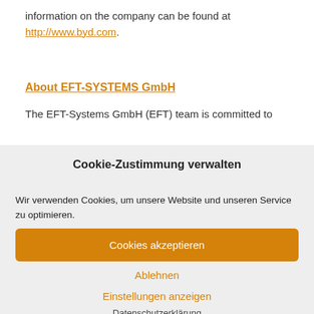information on the company can be found at http://www.byd.com.
About EFT-SYSTEMS GmbH
The EFT-Systems GmbH (EFT) team is committed to
Cookie-Zustimmung verwalten
Wir verwenden Cookies, um unsere Website und unseren Service zu optimieren.
Cookies akzeptieren
Ablehnen
Einstellungen anzeigen
Datenschutzerklärung